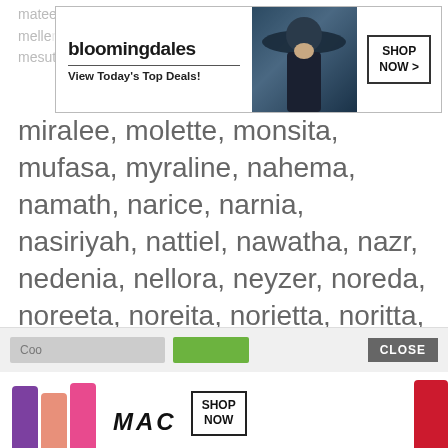[Figure (screenshot): Bloomingdale's advertisement banner with logo, 'View Today's Top Deals!' tagline, model in hat, and 'SHOP NOW >' button]
mateel, matlock, mattlock, mayne, molette, melle..., mesut, meyosha, milette, millenium, milinia, miralee, molette, monsita, mufasa, myraline, nahema, namath, narice, narnia, nasiriyah, nattiel, nawatha, nazr, nedenia, nellora, neyzer, noreda, noreeta, noreita, norietta, noritta, norreta, norretta, norrita, nykeba, ondina, ormi, ortrude, pashun, patsyann, peregrina, perette, perilla, perriann, petehn, phajja, philippina, picabo,
We use cookies on our website to give you the most relevant experience by remembering your preferences and repeat visits. By clicking “Accept”, you consent to the use of ALL the cookies.
Do not sell my personal information.
[Figure (screenshot): Cookie consent close button labeled CLOSE, and MAC cosmetics advertisement showing lipsticks in purple, peach, pink, red colors with MAC logo and SHOP NOW button]